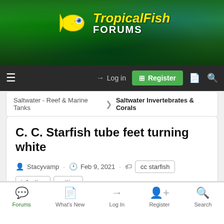[Figure (screenshot): TropicalFish Forums website header banner with underwater reef background and yellow fish logo]
TropicalFish FORUMS - Navigation bar with Log in and Register buttons
Saltwater - Reef & Marine Tanks > Saltwater Invertebrates & Corals
C. C. Starfish tube feet turning white
Stacyvamp · Feb 9, 2021 · Tags: cc starfish, infection, rotting, white tube feet
🚩 September Tank of the Month Starts Now! Click to enter! 🚩
Forums | What's New | Log In | Register | Search